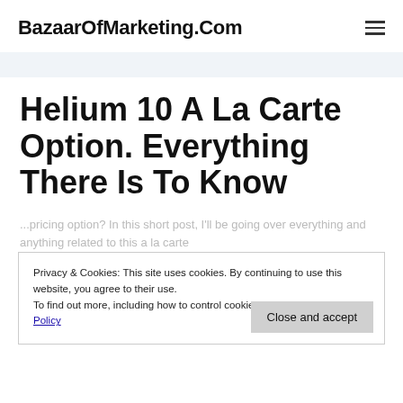BazaarOfMarketing.Com
Helium 10 A La Carte Option. Everything There Is To Know
Privacy & Cookies: This site uses cookies. By continuing to use this website, you agree to their use.
To find out more, including how to control cookies, see here: Cookie Policy
...pricing option? In this short post, I'll be going over everything and anything related to this a la carte option, so that you know exactly what it costs, what you get...